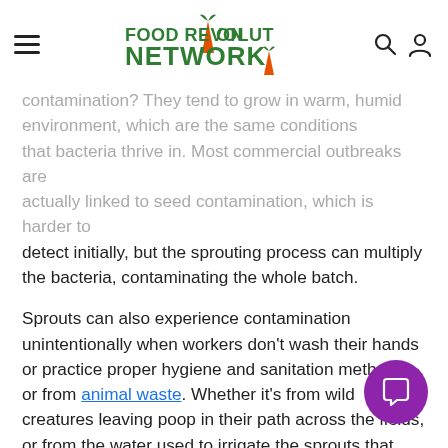Food Revolution Network navigation bar with hamburger menu, logo, search icon, and user icon
contamination? They tend to grow in warm, humid environment, which are the same conditions that bacteria thrive in. Most commercial outbreaks are actually linked to seed contamination, which is harder to detect initially, but the sprouting process can multiply the bacteria, contaminating the whole batch.
Sprouts can also experience contamination unintentionally when workers don't wash their hands or practice proper hygiene and sanitation methods, or from animal waste. Whether it's from wild creatures leaving poop in their path across the fields, or from the water used to irrigate the sprouts that then get contaminated by a factory farm down the street, animal waste is full of germs that can end up in the consumer product and wreak havoc on the human body.
Many commercial sprouts and their seeds are now, by law, grown with disinfectants like chlorinated water in an